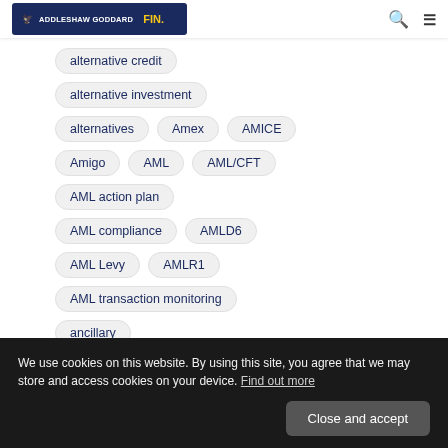ADDLESHAW GODDARD FIN.
alternative credit
alternative investment
alternatives
Amex
AMICE
Amigo
AML
AML/CFT
AML action plan
AML compliance
AMLD6
AML Levy
AMLR1
AML transaction monitoring
ancillary
ancillary purpose
We use cookies on this website. By using this site, you agree that we may store and access cookies on your device. Find out more
Close and accept